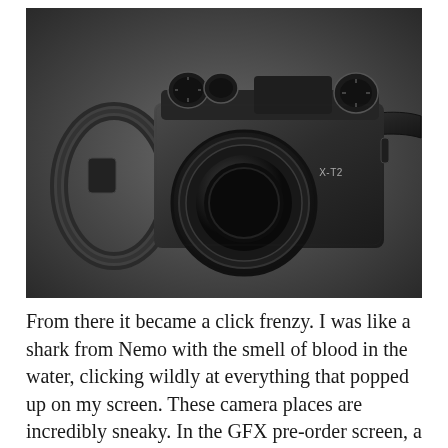[Figure (photo): Black and white photograph of a Fujifilm X-T2 mirrorless camera with a lens attached and a leather camera strap, placed on a dark gray background.]
From there it became a click frenzy. I was like a shark from Nemo with the smell of blood in the water, clicking wildly at everything that popped up on my screen. These camera places are incredibly sneaky. In the GFX pre-order screen, a popup